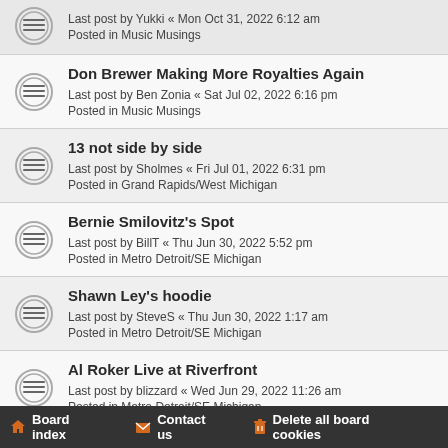Last post by Yukki « Mon Oct 31, 2022 6:12 am
Posted in Music Musings
Don Brewer Making More Royalties Again
Last post by Ben Zonia « Sat Jul 02, 2022 6:16 pm
Posted in Music Musings
13 not side by side
Last post by Sholmes « Fri Jul 01, 2022 6:31 pm
Posted in Grand Rapids/West Michigan
Bernie Smilovitz's Spot
Last post by BillT « Thu Jun 30, 2022 5:52 pm
Posted in Metro Detroit/SE Michigan
Shawn Ley's hoodie
Last post by SteveS « Thu Jun 30, 2022 1:17 am
Posted in Metro Detroit/SE Michigan
Al Roker Live at Riverfront
Last post by blizzard « Wed Jun 29, 2022 11:26 am
Posted in Metro Detroit/SE Michigan
Board index   Contact us   Delete all board cookies